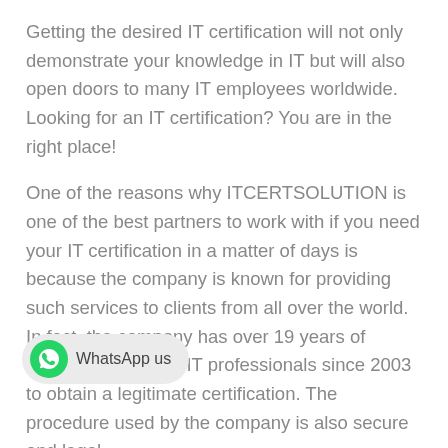Getting the desired IT certification will not only demonstrate your knowledge in IT but will also open doors to many IT employees worldwide. Looking for an IT certification? You are in the right place!
One of the reasons why ITCERTSOLUTION is one of the best partners to work with if you need your IT certification in a matter of days is because the company is known for providing such services to clients from all over the world. In fact, the company has over 19 years of experience helping IT professionals since 2003 to obtain a legitimate certification. The procedure used by the company is also secure and legal.
Sti[WhatsApp us]% of HR managers use IT certifications as screening or hiring criteria during recruitment. Launch your IT